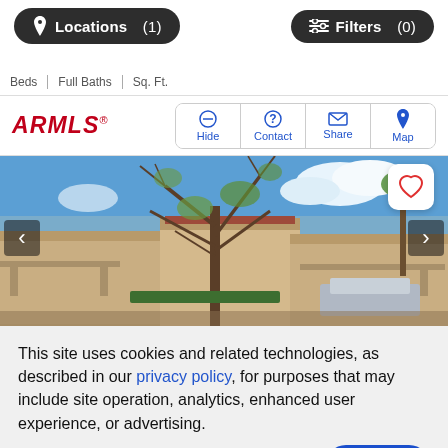[Figure (screenshot): Top navigation bar with Locations (1) and Filters (0) buttons on dark rounded pill backgrounds]
Beds | Full Baths | Sq. Ft.
[Figure (logo): ARMLS logo in red italic bold text with registered trademark symbol]
[Figure (screenshot): Action buttons row: Hide, Contact, Share, Map — blue icons with labels inside rounded rectangle border]
[Figure (photo): Exterior photo of a single-story residential property with large bare tree, carport, blue sky background. Left and right navigation arrows visible. Heart/favorite button in top right corner.]
This site uses cookies and related technologies, as described in our privacy policy, for purposes that may include site operation, analytics, enhanced user experience, or advertising.
[Figure (screenshot): Cookie consent actions: Manage Preferences link and Accept button]